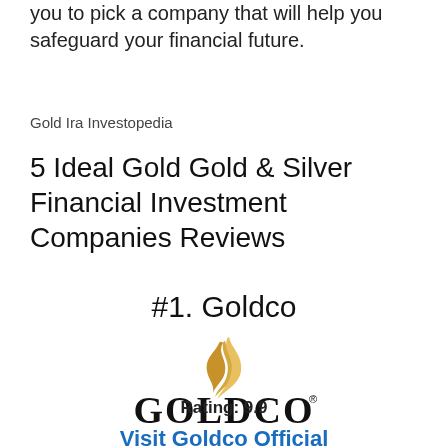you to pick a company that will help you safeguard your financial future.
Gold Ira Investopedia
5 Ideal Gold Gold & Silver Financial Investment Companies Reviews
#1. Goldco
[Figure (logo): Goldco company logo with golden flame and GOLDCO text in bold serif font with registered trademark symbol]
Rating: 9.9
Visit Goldco Official